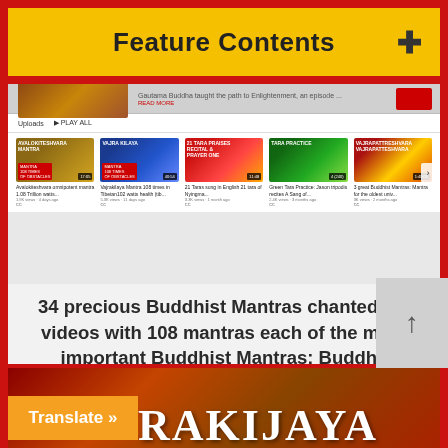Feature Contents
[Figure (screenshot): Screenshot of a YouTube channel page showing Buddhist mantra video thumbnails including Avalokiteshvara, Vajrakilaya, 21 Tara Praises, Tara, and other Buddhist mantra videos with view counts and upload dates]
34 precious Buddhist Mantras chanted: 34 videos with 108 mantras each of the most important Buddhist Mantras: Buddha Weekly Playlist
Read More
[Figure (photo): Decorative banner with text RAKIJAYA in large white letters on a dark red/orange ornate background]
Translate »